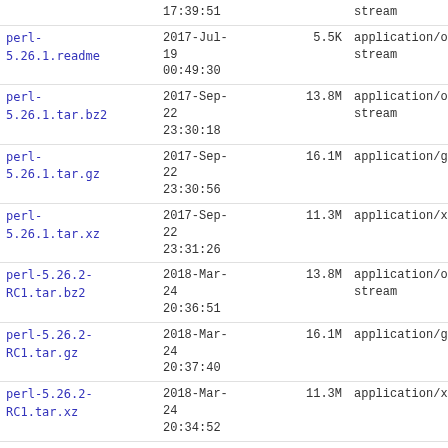| Name | Date | Size | Type |
| --- | --- | --- | --- |
| (partial row top) | 17:39:51 |  | stream |
| perl-5.26.1.readme | 2017-Jul-19 00:49:30 | 5.5K | application/octet-stream |
| perl-5.26.1.tar.bz2 | 2017-Sep-22 23:30:18 | 13.8M | application/octet-stream |
| perl-5.26.1.tar.gz | 2017-Sep-22 23:30:56 | 16.1M | application/gzip |
| perl-5.26.1.tar.xz | 2017-Sep-22 23:31:26 | 11.3M | application/x-xz |
| perl-5.26.2-RC1.tar.bz2 | 2018-Mar-24 20:36:51 | 13.8M | application/octet-stream |
| perl-5.26.2-RC1.tar.gz | 2018-Mar-24 20:37:40 | 16.1M | application/gzip |
| perl-5.26.2-RC1.tar.xz | 2018-Mar-24 20:34:52 | 11.3M | application/x-xz |
| perl-5.26.2.meta | 2018-Mar-24 20:44:19 | 3.5K | application/octet-stream |
| perl-5.26.2.readme | 2018-Mar-01 13:19:15 | 5.5K | application/octet-stream |
| perl-5.26.2.tar.bz2 | 2018-Apr-14 13:26:33 | 13.8M | application/octet-stream |
| perl- | 2018-Apr- |  |  |